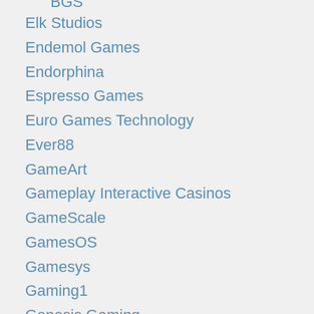BGS
Elk Studios
Endemol Games
Endorphina
Espresso Games
Euro Games Technology
Ever88
GameArt
Gameplay Interactive Casinos
GameScale
GamesOS
Gamesys
Gaming1
Genesis Gaming
Habanero
High 5 Games
Holland Power Gaming
IGT
iSoftBet
Kajot
Leander Games
Lightning Box
Magnet Gaming